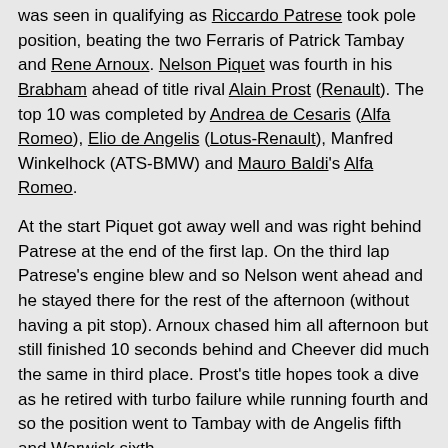was seen in qualifying as Riccardo Patrese took pole position, beating the two Ferraris of Patrick Tambay and Rene Arnoux. Nelson Piquet was fourth in his Brabham ahead of title rival Alain Prost (Renault). The top 10 was completed by Andrea de Cesaris (Alfa Romeo), Elio de Angelis (Lotus-Renault), Manfred Winkelhock (ATS-BMW) and Mauro Baldi's Alfa Romeo.
At the start Piquet got away well and was right behind Patrese at the end of the first lap. On the third lap Patrese's engine blew and so Nelson went ahead and he stayed there for the rest of the afternoon (without having a pit stop). Arnoux chased him all afternoon but still finished 10 seconds behind and Cheever did much the same in third place. Prost's title hopes took a dive as he retired with turbo failure while running fourth and so the position went to Tambay with de Angelis fifth and Warwick sixth.
| POS | NO | DRIVER | ENTRANT | LAPS | TIME/RETIREMENT | QUALIFYING POS |
| --- | --- | --- | --- | --- | --- | --- |
| 1 | 5 | Nelson Piquet | Brabham-BMW | 52 | 1h23m10.880s | 4 |